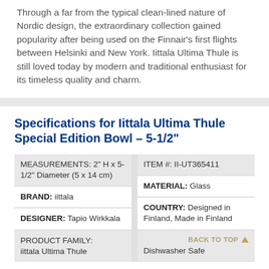Through a far from the typical clean-lined nature of Nordic design, the extraordinary collection gained popularity after being used on the Finnair's first flights between Helsinki and New York. Iittala Ultima Thule is still loved today by modern and traditional enthusiast for its timeless quality and charm.
Specifications for Iittala Ultima Thule Special Edition Bowl – 5-1/2"
| MEASUREMENTS: 2" H x 5-1/2" Diameter (5 x 14 cm) | ITEM #: II-UT365411 |
| BRAND: iittala | MATERIAL: Glass |
| DESIGNER: Tapio Wirkkala | COUNTRY: Designed in Finland, Made in Finland |
| PRODUCT FAMILY: iittala Ultima Thule | Dishwasher Safe |